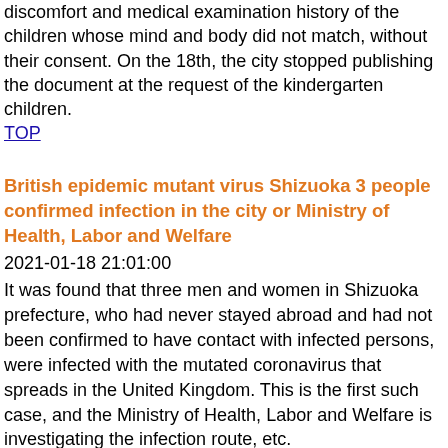discomfort and medical examination history of the children whose mind and body did not match, without their consent. On the 18th, the city stopped publishing the document at the request of the kindergarten children.
TOP
British epidemic mutant virus Shizuoka 3 people confirmed infection in the city or Ministry of Health, Labor and Welfare
2021-01-18 21:01:00
It was found that three men and women in Shizuoka prefecture, who had never stayed abroad and had not been confirmed to have contact with infected persons, were infected with the mutated coronavirus that spreads in the United Kingdom. This is the first such case, and the Ministry of Health, Labor and Welfare is investigating the infection route, etc.
TOP